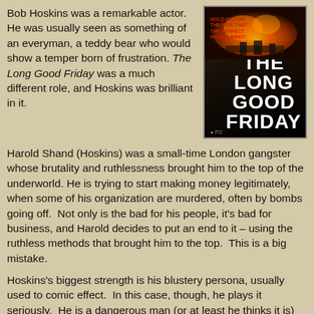Bob Hoskins was a remarkable actor. He was usually seen as something of an everyman, a teddy bear who would show a temper born of frustration. The Long Good Friday was a much different role, and Hoskins was brilliant in it.
[Figure (photo): Movie poster for 'The Long Good Friday' showing an explosion image at top and bold white text title on black background.]
Harold Shand (Hoskins) was a small-time London gangster whose brutality and ruthlessness brought him to the top of the underworld. He is trying to start making money legitimately, when some of his organization are murdered, often by bombs going off.  Not only is the bad for his people, it's bad for business, and Harold decides to put an end to it – using the ruthless methods that brought him to the top.  This is a big mistake.
Hoskins's biggest strength is his blustery persona, usually used to comic effect.  In this case, though, he plays it seriously.  He is a dangerous man (or at least he thinks it is) who is used to getting what he wants by bullying and...